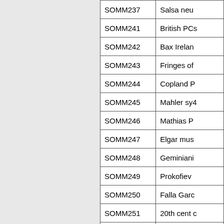| ID | Description |
| --- | --- |
| SOMM237 | Salsa neu |
| SOMM241 | British PCs |
| SOMM242 | Bax Irelan |
| SOMM243 | Fringes of |
| SOMM244 | Copland P |
| SOMM245 | Mahler sy4 |
| SOMM246 | Mathias P |
| SOMM247 | Elgar mus |
| SOMM248 | Geminiani |
| SOMM249 | Prokofiev |
| SOMM250 | Falla Garc |
| SOMM251 | 20th cent c |
| SOMM252 | Elgar Mus |
| SOMM253 | Rachmani |
| SOMM254 | British PCs |
| SOMM255 | Elgar Biny |